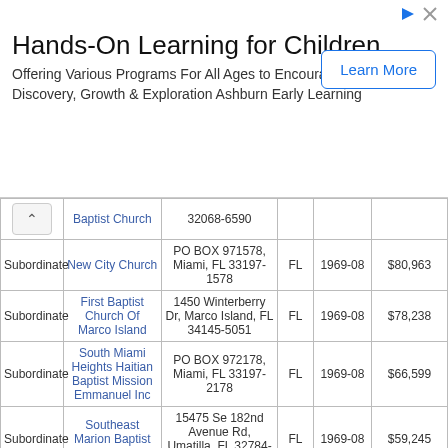[Figure (screenshot): Advertisement banner for 'Hands-On Learning for Children' - Ashburn Early Learning with a Learn More button]
|  | Name | Address | State | Tax Period | Income |
| --- | --- | --- | --- | --- | --- |
|  | Baptist Church | 32068-6590 |  |  |  |
| Subordinate | New City Church | PO BOX 971578, Miami, FL 33197-1578 | FL | 1969-08 | $80,963 |
| Subordinate | First Baptist Church Of Marco Island | 1450 Winterberry Dr, Marco Island, FL 34145-5051 | FL | 1969-08 | $78,238 |
| Subordinate | South Miami Heights Haitian Baptist Mission Emmanuel Inc | PO BOX 972178, Miami, FL 33197-2178 | FL | 1969-08 | $66,599 |
| Subordinate | Southeast Marion Baptist Church | 15475 Se 182nd Avenue Rd, Umatilla, FL 32784-8597 | FL | 1969-08 | $59,245 |
| Subordinate | New Life Baptist Church Of Century | PO BOX 535, Century, FL 32535-0535 | FL | 1969-08 | $...18 |
| Subordinate |  | 1600 43rd St, West... |  |  |  |